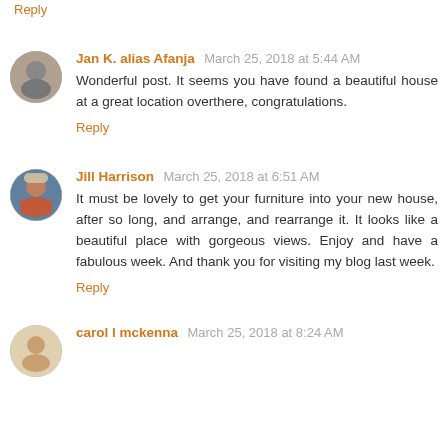Reply
Jan K. alias Afanja March 25, 2018 at 5:44 AM
Wonderful post. It seems you have found a beautiful house at a great location overthere, congratulations.
Reply
Jill Harrison March 25, 2018 at 6:51 AM
It must be lovely to get your furniture into your new house, after so long, and arrange, and rearrange it. It looks like a beautiful place with gorgeous views. Enjoy and have a fabulous week. And thank you for visiting my blog last week.
Reply
carol l mckenna March 25, 2018 at 8:24 AM